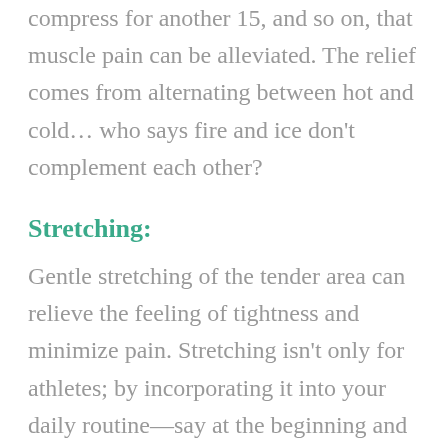compress for another 15, and so on, that muscle pain can be alleviated. The relief comes from alternating between hot and cold… who says fire and ice don't complement each other?
Stretching:
Gentle stretching of the tender area can relieve the feeling of tightness and minimize pain. Stretching isn't only for athletes; by incorporating it into your daily routine—say at the beginning and end of each day—it